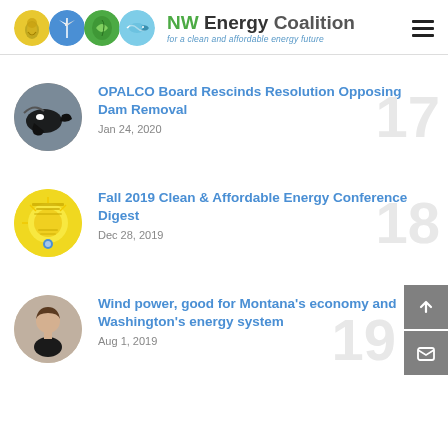NW Energy Coalition – for a clean and affordable energy future
OPALCO Board Rescinds Resolution Opposing Dam Removal – Jan 24, 2020
Fall 2019 Clean & Affordable Energy Conference Digest – Dec 28, 2019
Wind power, good for Montana's economy and Washington's energy system – Aug 1, 2019